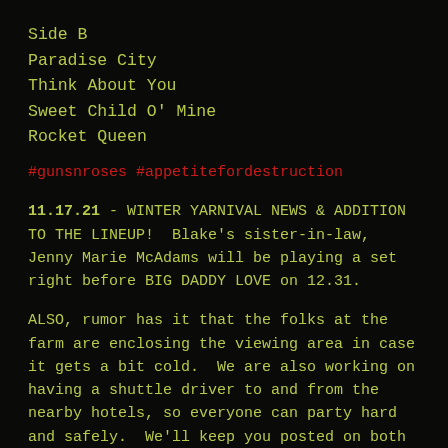Side B
Paradise City
Think About You
Sweet Child O' Mine
Rocket Queen
#gunsnroses #appetitefordestruction
11.17.21 - WINTER YARNIVAL NEWS & ADDITION TO THE LINEUP!  Blake's sister-in-law, Jenny Marie McAdams will be playing a set right before BIG DADDY LOVE on 12.31.
ALSO, rumor has it that the folks at the farm are enclosing the viewing area in case it gets a bit cold.  We are also working on having a shuttle driver to and from the nearby hotels, so everyone can party hard and safely.  We'll keep you posted on both these